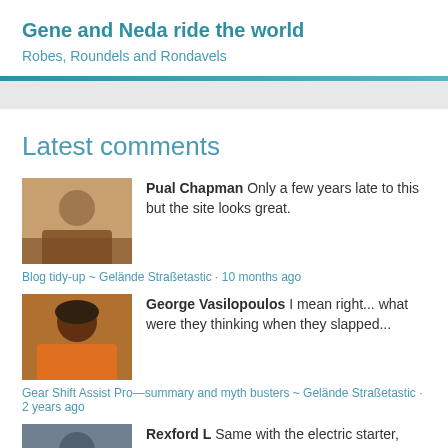Gene and Neda ride the world
Robes, Roundels and Rondavels
Latest comments
Pual Chapman Only a few years late to this but the site looks great.
Blog tidy-up ~ Gelände Straßetastic · 10 months ago
George Vasilopoulos I mean right... what were they thinking when they slapped...
Gear Shift Assist Pro—summary and myth busters ~ Gelände Straßetastic · 2 years ago
Rexford L Same with the electric starter, disc brakes and...